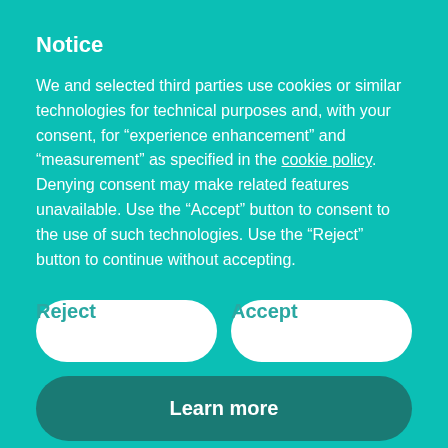Notice
We and selected third parties use cookies or similar technologies for technical purposes and, with your consent, for “experience enhancement” and “measurement” as specified in the cookie policy. Denying consent may make related features unavailable. Use the “Accept” button to consent to the use of such technologies. Use the “Reject” button to continue without accepting.
Reject
Accept
Learn more
morning) is predicted as the peak of the Bootids Meteor Shower; if they are visible at all this year. Although they are not active every year, they can occur any time between 22nd June and 2nd July.
More at spaceweather.com, including a map of the radiant point.